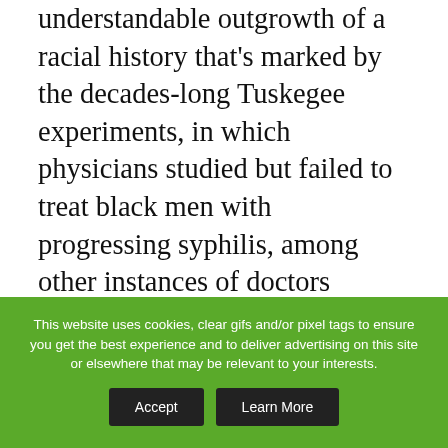particular of clinical trials, says Hicks. It's an understandable outgrowth of a racial history that's marked by the decades-long Tuskegee experiments, in which physicians studied but failed to treat black men with progressing syphilis, among other instances of doctors abusing patient trust, he says. “When someone comes in and talks about research,” he explains, “immediately they say, ‘Oh, this is a guinea pig situation.’ “ To help counteract that unease, Hicks discusses clinical research, including its layers of patient protection, in forums at African-American churches and social organizations.

But what can the patient do? All cancer patients
This website uses cookies, clear gifs and/or pixel tags to ensure you get the best experience and to deliver advertising on this site or elsewhere that may be relevant to your interests.
Accept   Learn More